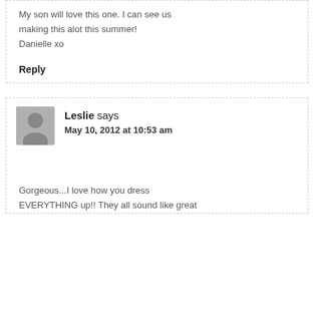My son will love this one. I can see us making this alot this summer!
Danielle xo
Reply
Leslie says
May 10, 2012 at 10:53 am
Gorgeous...I love how you dress EVERYTHING up!! They all sound like great